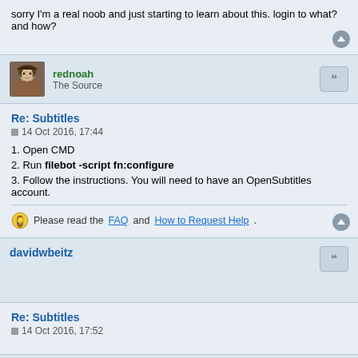sorry I'm a real noob and just starting to learn about this. login to what? and how?
rednoah
The Source
Re: Subtitles
14 Oct 2016, 17:44
1. Open CMD
2. Run filebot -script fn:configure
3. Follow the instructions. You will need to have an OpenSubtitles account.
Please read the FAQ and How to Request Help.
davidwbeitz
Re: Subtitles
14 Oct 2016, 17:52